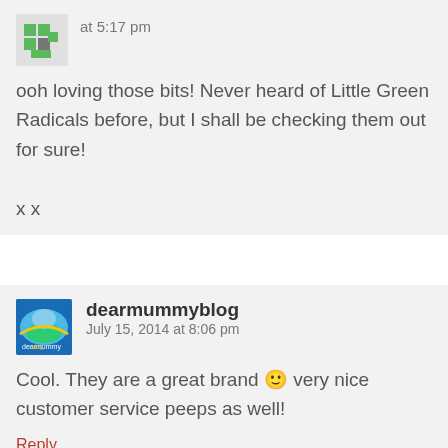at 5:17 pm
ooh loving those bits! Never heard of Little Green Radicals before, but I shall be checking them out for sure!

x x
Reply
dearmummyblog  July 15, 2014 at 8:06 pm
Cool. They are a great brand 🙂 very nice customer service peeps as well!
Reply